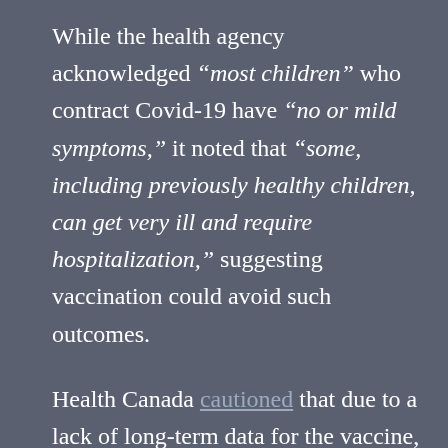While the health agency acknowledged "most children" who contract Covid-19 have "no or mild symptoms," it noted that "some, including previously healthy children, can get very ill and require hospitalization," suggesting vaccination could avoid such outcomes.
Health Canada cautioned that due to a lack of long-term data for the vaccine, there is currently little information about serious side effects such as myocarditis –